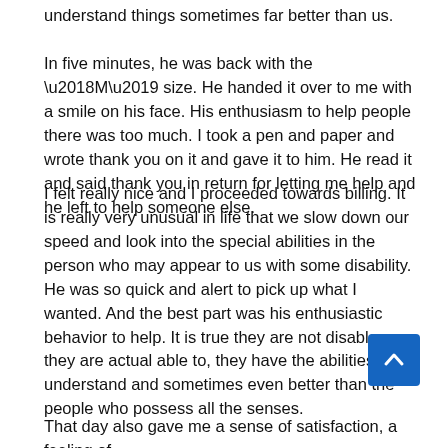understand things sometimes far better than us.
In five minutes, he was back with the ‘M’ size. He handed it over to me with a smile on his face. His enthusiasm to help people there was too much. I took a pen and paper and wrote thank you on it and gave it to him. He read it and said thank you in return for letting me help and he left to help someone else.
I felt really nice and I proceeded towards billing. It is really very unusual in life that we slow down our speed and look into the special abilities in the person who may appear to us with some disability. He was so quick and alert to pick up what I wanted. And the best part was his enthusiastic behavior to help. It is true they are not disable, they are actual able to, they have the abilities to understand and sometimes even better than the people who possess all the senses.
That day also gave me a sense of satisfaction, a feeling of